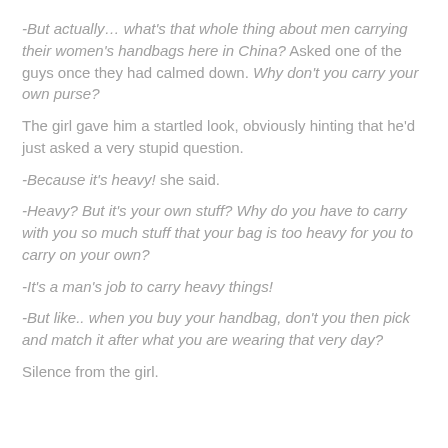-But actually… what's that whole thing about men carrying their women's handbags here in China? Asked one of the guys once they had calmed down. Why don't you carry your own purse?
The girl gave him a startled look, obviously hinting that he'd just asked a very stupid question.
-Because it's heavy! she said.
-Heavy? But it's your own stuff? Why do you have to carry with you so much stuff that your bag is too heavy for you to carry on your own?
-It's a man's job to carry heavy things!
-But like.. when you buy your handbag, don't you then pick and match it after what you are wearing that very day?
Silence from the girl.